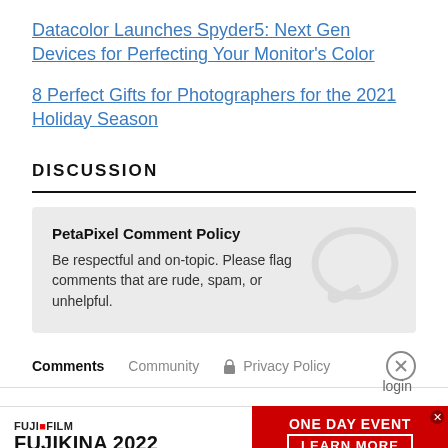Datacolor Launches Spyder5: Next Gen Devices for Perfecting Your Monitor's Color
8 Perfect Gifts for Photographers for the 2021 Holiday Season
DISCUSSION
PetaPixel Comment Policy
Be respectful and on-topic. Please flag comments that are rude, spam, or unhelpful.
Comments   Community   Privacy Policy
[Figure (screenshot): Advertisement banner for FUJIFILM FUJIKINA 2022 ONE DAY EVENT with a LEARN MORE button on a red background]